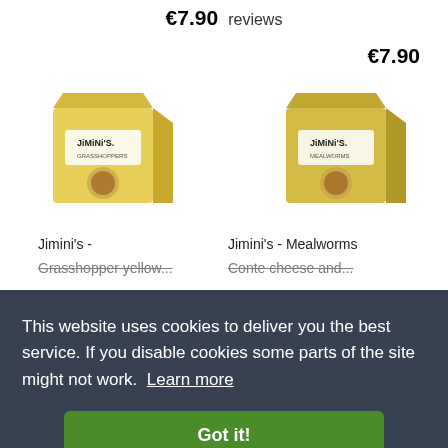€7.90   reviews
€7.90
[Figure (photo): Jimini's yellow box product - Grasshopper flavor]
[Figure (photo): Jimini's yellow box product - Mealworms flavor]
Jimini's -
Jimini's - Mealworms
Grasshopper yellow...
Conte cheese and...
This website uses cookies to deliver you the best service. If you disable cookies some parts of the site might not work.  Learn more
Got it!